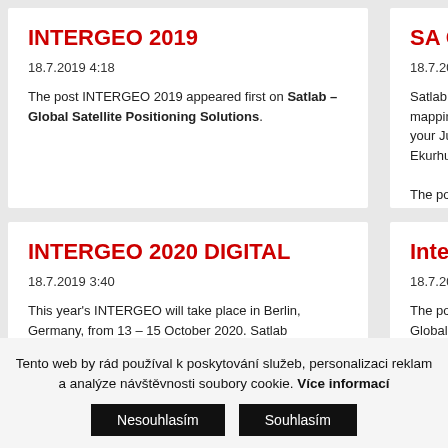INTERGEO 2019
18.7.2019 4:18
The post INTERGEO 2019 appeared first on Satlab – Global Satellite Positioning Solutions.
SA GEOTEO
18.7.2019 4:18
Satlab Geosolutions share mapping soluti... event to unlock your July 2019 (Mon – Tu... Ekurhuleni, South Afr... The post SA GEOTE – Global Satellite Pos...
INTERGEO 2020 DIGITAL
18.7.2019 3:40
This year's INTERGEO will take place in Berlin, Germany, from 13 – 15 October 2020. Satlab Geosolutions AB will showcase the full range of products, along with complete solutions of hardware and software. Our professional team will provide professional introductions as well as Q&A. The solutions will cover Machine Control, Monitoring, Indoor Positioning, Aerial Mapping, LiDAR, [...]
Intergeo 20
18.7.2019 3:40
The post Intergeo 20 Satlab – Global Sate...
Tento web by rád používal k poskytování služeb, personalizaci reklam a analýze návštěvnosti soubory cookie. Více informací
Nesouhlasím
Souhlasím